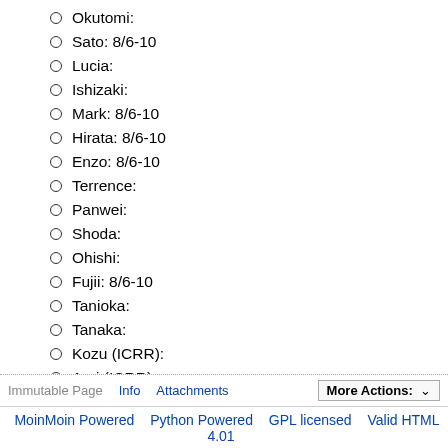Okutomi:
Sato: 8/6-10
Lucia:
Ishizaki:
Mark: 8/6-10
Hirata: 8/6-10
Enzo: 8/6-10
Terrence:
Panwei:
Shoda:
Ohishi:
Fujii: 8/6-10
Tanioka:
Tanaka:
Kozu (ICRR):
Arai (ICRR):
KAGRA/Subgroups/VIS/VISMinutes20180727 (last edited 2018-07-30 08:59:12 by NobuyukiTanaka)
Immutable Page  Info  Attachments  More Actions:  MoinMoin Powered  Python Powered  GPL licensed  Valid HTML 4.01